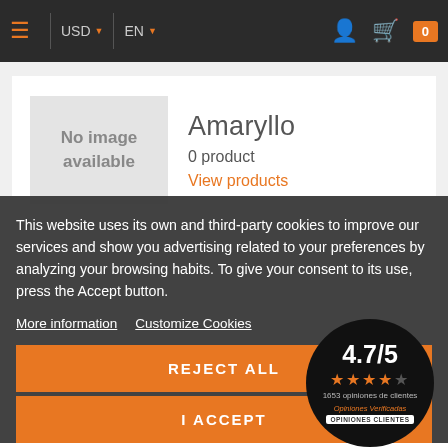USD ▼  EN ▼
[Figure (screenshot): E-commerce product page showing 'Amaryllo' brand with no image available, 0 products listed, and a View products link]
No image available
Amaryllo
0 product
View products
This website uses its own and third-party cookies to improve our services and show you advertising related to your preferences by analyzing your browsing habits. To give your consent to its use, press the Accept button.
More information   Customize Cookies
REJECT ALL
I ACCEPT
4.7/5
★★★★☆
1653 opiniones de clientes
Opiniones Verificadas
OPINIONES CLIENTES